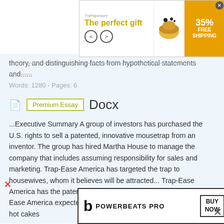[Figure (other): Top advertisement banner: 'The perfect gift' with food bowl image, arrows, and FREE SHIPPING badge with 35% off]
theory, and distinguishing facts from hypothetical statements and......
Words: 1280 - Pages: 6
Premium Essay   Docx
...Executive Summary A group of investors has purchased the U.S. rights to sell a patented, innovative mousetrap from an inventor. The group has hired Martha House to manage the company that includes assuming responsibility for sales and marketing. Trap-Ease America has targeted the trap to housewives, whom it believes will be attracted... Trap-Ease America has the patent to a revolutionary new mouse trap. Trap-Ease America expected the revolutionary mouse trap to sell like hot cakes
[Figure (other): Bottom advertisement banner for Powerbeats Pro with BUY NOW button]